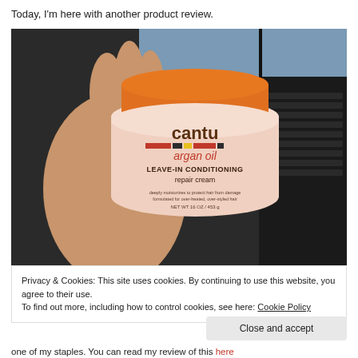Today, I'm here with another product review.
[Figure (photo): A hand holding a jar of Cantu argan oil Leave-In Conditioning Repair Cream (16 oz / 453g), with an orange lid. A laptop keyboard is visible in the background.]
Privacy & Cookies: This site uses cookies. By continuing to use this website, you agree to their use.
To find out more, including how to control cookies, see here: Cookie Policy
Close and accept
one of my staples. You can read my review of this here